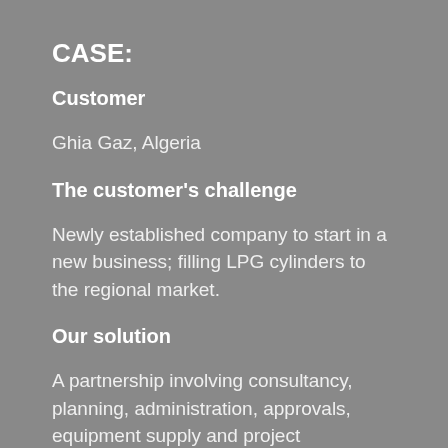CASE:
Customer
Ghia Gaz, Algeria
The customer's challenge
Newly established company to start in a new business; filling LPG cylinders to the regional market.
Our solution
A partnership involving consultancy, planning, administration, approvals, equipment supply and project management from green field to